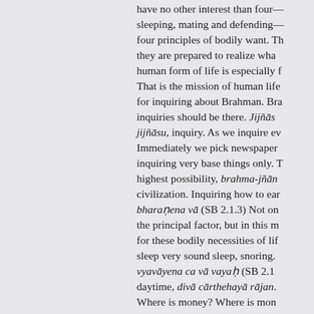have no other interest than four— sleeping, mating and defending— four principles of bodily want. They are prepared to realize what human form of life is especially for. That is the mission of human life, for inquiring about Brahman. Brahma inquiries should be there. Jijñāsu, jijñāsu, inquiry. As we inquire every... Immediately we pick newspapers, inquiring very base things only. The highest possibility, brahma-jñāna civilization. Inquiring how to earn. bharaṇena vā (SB 2.1.3) Not only the principal factor, but in this material for these bodily necessities of life, sleep very sound sleep, snoring. vyavāyena ca vā vayaḥ (SB 2.1...) daytime, divā cārthehayā rājan... Where is money? Where is money? vā. And as soon as one gets money, family, that's all. Shopping, storing life. Out of that, one who is actually...